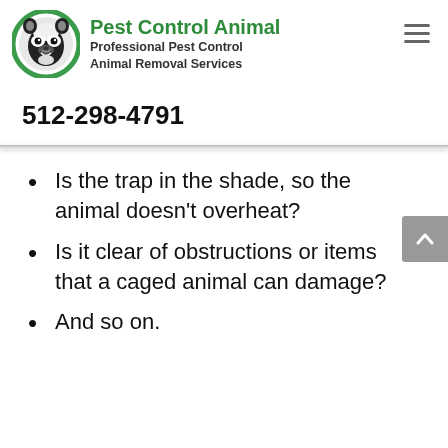[Figure (logo): Pest Control Animal logo: circular green-bordered icon with cartoon raccoon face in black and white, with company name and tagline]
Pest Control Animal — Professional Pest Control Animal Removal Services
512-298-4791
Is the trap in the shade, so the animal doesn't overheat?
Is it clear of obstructions or items that a caged animal can damage?
And so on.